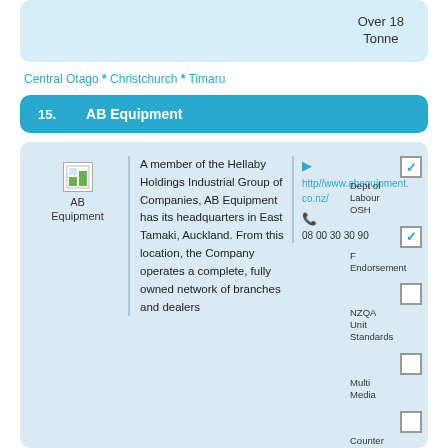Over 18 Tonne
Central Otago * Christchurch * Timaru
15.   AB Equipment
[Figure (logo): AB Equipment logo icon]
A member of the Hellaby Holdings Industrial Group of Companies, AB Equipment has its headquarters in East Tamaki, Auckland. From this location, the Company operates a complete, fully owned network of branches and dealers
http//www.abequipment.co.nz/
0800 30 30 90
Dept of Labour OSH [checked]
F Endorsement [checked]
NZQA Unit Standards [unchecked]
Multi Media [unchecked]
Counter [unchecked]